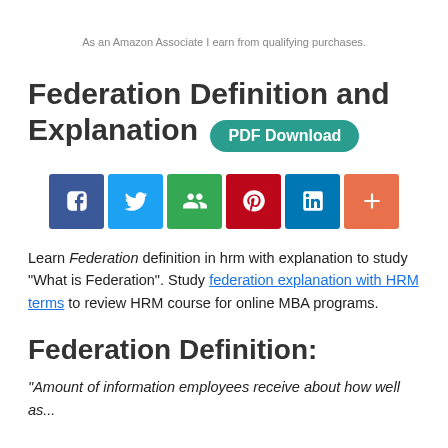As an Amazon Associate I earn from qualifying purchases.
Federation Definition and Explanation PDF Download
[Figure (infographic): Social sharing buttons: Facebook (blue), Twitter (light blue), Google+ (green), Pinterest (red), LinkedIn (dark blue), More/Plus (orange-red)]
Learn Federation definition in hrm with explanation to study "What is Federation". Study federation explanation with HRM terms to review HRM course for online MBA programs.
Federation Definition:
"Amount of information employees receive about how well as...